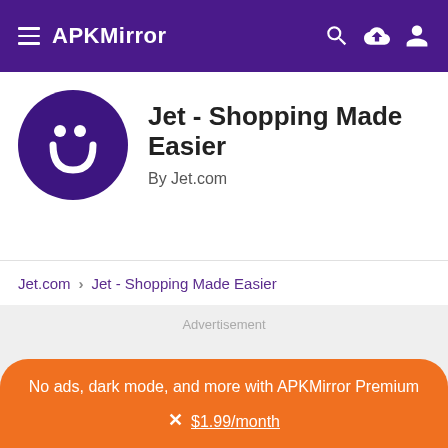APKMirror
Jet - Shopping Made Easier
By Jet.com
Jet.com › Jet - Shopping Made Easier
Advertisement
No ads, dark mode, and more with APKMirror Premium × $1.99/month